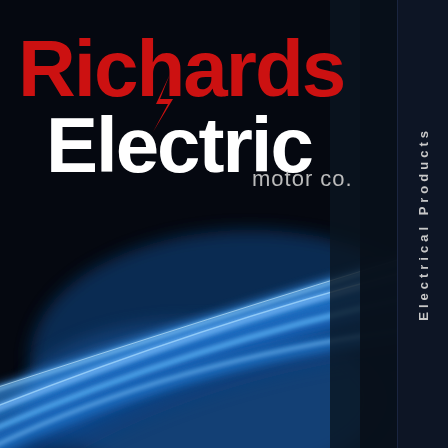[Figure (logo): Richards Electric Motor Co. logo on dark background with blue electrical cables photo. Red 'Richards' text with lightning bolt, white 'Electric' text, grey 'motor co.' subtitle. Right sidebar with vertical 'Electrical Products' text.]